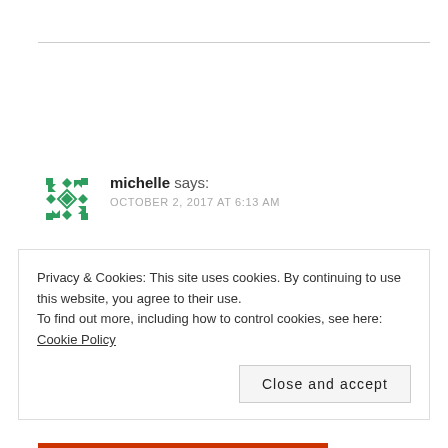michelle says:
OCTOBER 2, 2017 AT 6:13 AM
Ooh these look like they are very comfy and absolutely love the colour
Privacy & Cookies: This site uses cookies. By continuing to use this website, you agree to their use.
To find out more, including how to control cookies, see here: Cookie Policy
Close and accept